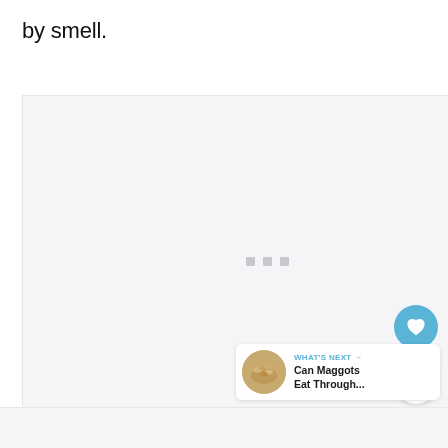by smell.
[Figure (other): Loading media placeholder box with three small grey dots indicating content is loading]
[Figure (other): Blue circular FAB button with a heart icon (favorite/like)]
[Figure (other): White circular FAB button with a share/add icon]
[Figure (other): What's Next card with thumbnail image and text: Can Maggots Eat Through...]